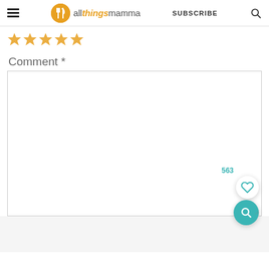allthingsmamma — SUBSCRIBE
[Figure (other): Five yellow star rating icons (outline stars)]
Comment *
[Figure (screenshot): Empty comment text area input box with 563 count badge, a white heart button, and a teal search button overlaid on the right side]